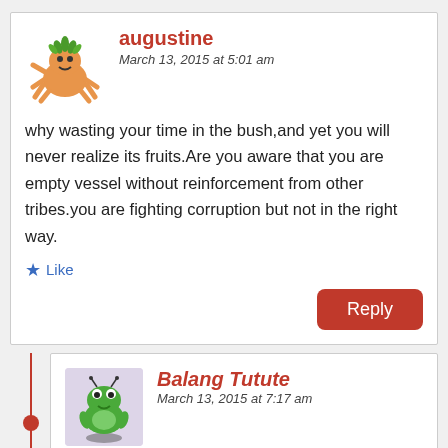[Figure (illustration): Cartoon monster/creature avatar for user 'augustine']
augustine
March 13, 2015 at 5:01 am
why wasting your time in the bush,and yet you will never realize its fruits.Are you aware that you are empty vessel without reinforcement from other tribes.you are fighting corruption but not in the right way.
Like
Reply
[Figure (illustration): Cartoon green frog/creature avatar for user 'Balang Tutute']
Balang Tutute
March 13, 2015 at 7:17 am
augustine,